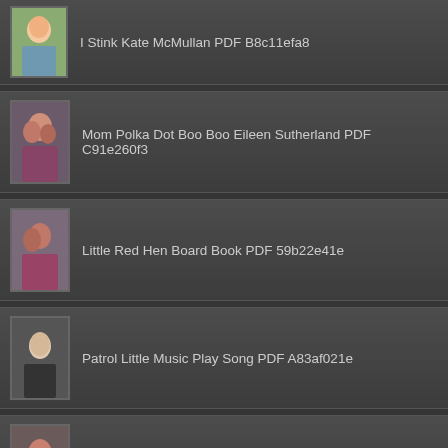I Stink Kate McMullan PDF B8c11efa8
Mom Polka Dot Boo Boo Eileen Sutherland PDF C91e260f3
Little Red Hen Board Book PDF 59b22e41e
Patrol Little Music Play Song PDF A83af021e
Trick Treat Pout Pout Fish Adventure PDF 9866bcd77